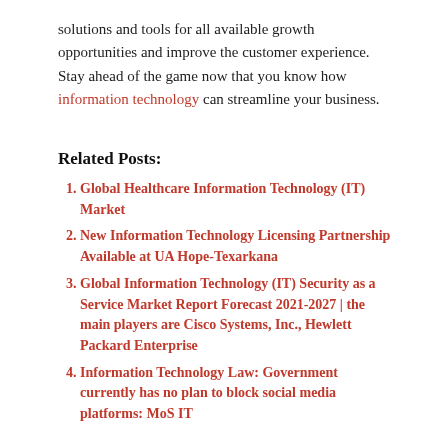solutions and tools for all available growth opportunities and improve the customer experience. Stay ahead of the game now that you know how information technology can streamline your business.
Related Posts:
Global Healthcare Information Technology (IT) Market
New Information Technology Licensing Partnership Available at UA Hope-Texarkana
Global Information Technology (IT) Security as a Service Market Report Forecast 2021-2027 | the main players are Cisco Systems, Inc., Hewlett Packard Enterprise
Information Technology Law: Government currently has no plan to block social media platforms: MoS IT